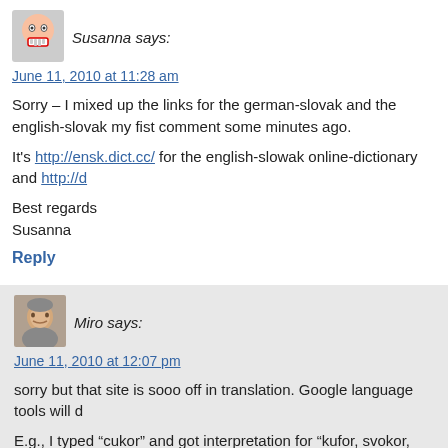[Figure (illustration): Susanna avatar - cartoon face with teeth]
Susanna says:
June 11, 2010 at 11:28 am
Sorry – I mixed up the links for the german-slovak and the english-slovak my fist comment some minutes ago.
It's http://ensk.dict.cc/ for the english-slowak online-dictionary and http://d...
Best regards
Susanna
Reply
[Figure (photo): Miro avatar - photo of a man]
Miro says:
June 11, 2010 at 12:07 pm
sorry but that site is sooo off in translation. Google language tools will d...
E.g., I typed “cukor” and got interpretation for “kufor, svokor, vrecko, ut... “cukor”
however, there is a link on that page to anglicko-slovensky slovnik, and...
http://slovnik.azet.sk/preklad/anglicko-slovensky
Reply